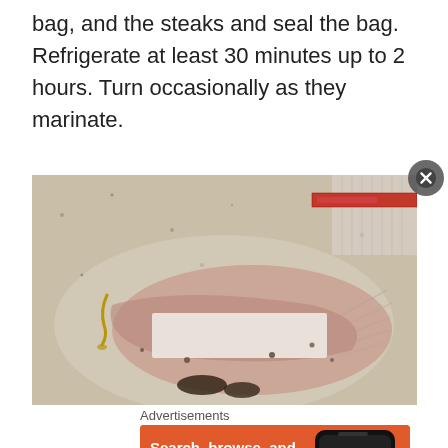bag, and the steaks and seal the bag. Refrigerate at least 30 minutes up to 2 hours. Turn occasionally as they marinate.
[Figure (photo): A photo of raw marinating steaks in a clear zip-lock plastic bag on a granite countertop, with marinade visible.]
Advertisements
[Figure (screenshot): DuckDuckGo advertisement banner on orange background: 'Search, browse, and email with more privacy. All in One Free App' with DuckDuckGo logo and a phone mockup.]